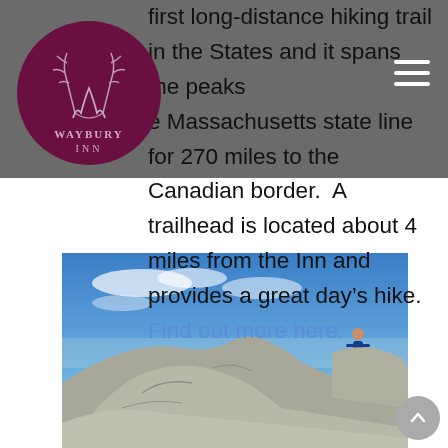[Figure (logo): Waybury Inn logo: dark purple/maroon oval with antler illustration and text WAYBURY INN]
first long-distance hiking trail in the States and it spans the peaks e Massachusetts state line for 270 miles to the Canadian border.  A trailhead is located about 4 miles from the Inn and provides a great day's hike. Find out more here.
[Figure (photo): A person standing on rocky mountain summit with blue sky and panoramic landscape view in background]